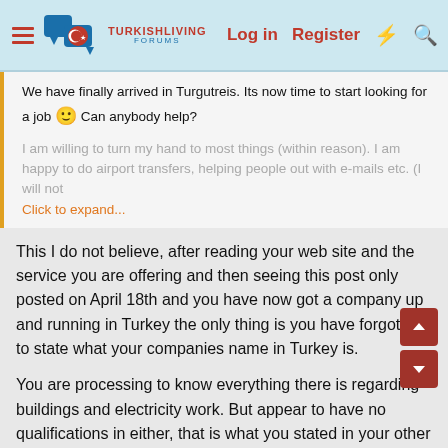TurkishLiving Forums — Log in | Register
We have finally arrived in Turgutreis. Its now time to start looking for a job 🙂 Can anybody help?
I am willing to turn my hand to most things (within reason). I am happy to do airport transfers, helping people out with e-mails etc. (I will not...
Click to expand...
This I do not believe, after reading your web site and the service you are offering and then seeing this post only posted on April 18th and you have now got a company up and running in Turkey the only thing is you have forgotten to state what your companies name in Turkey is.
You are processing to know everything there is regarding buildings and electricity work. But appear to have no qualifications in either, that is what you stated in your other post Pete, before you got it closed.
You also state about Spain and the building there, have you